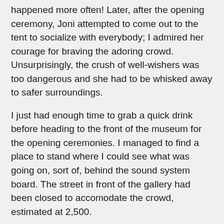happened more often! Later, after the opening ceremony, Joni attempted to come out to the tent to socialize with everybody; I admired her courage for braving the adoring crowd. Unsurprisingly, the crush of well-wishers was too dangerous and she had to be whisked away to safer surroundings.
I just had enough time to grab a quick drink before heading to the front of the museum for the opening ceremonies. I managed to find a place to stand where I could see what was going on, sort of, behind the sound system board. The street in front of the gallery had been closed to accomodate the crowd, estimated at 2,500.
"Ho hum, welcome to another opening at the Mendel Art Gallery. We always get good crowds," Gilles joked, getting the ceremony under way. The civic pride was palpable as a parade of speakers moved to the podium, among them Saskatchewan Premier Roy Romanow and Saskatoon Mayor Henry Dayday; granddaughter of Fred Mendel and exhibit sponsor Camille Mitchell (no relation to Joni); and speakers for corporate sponsors Investors Group, Potash Corporation of